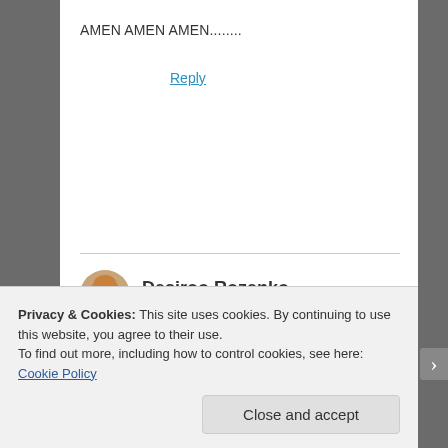AMEN AMEN AMEN........
Reply
Desiroo Rozenko
June 1, 2016 at 5:24 pm
Privacy & Cookies: This site uses cookies. By continuing to use this website, you agree to their use.
To find out more, including how to control cookies, see here: Cookie Policy
Close and accept